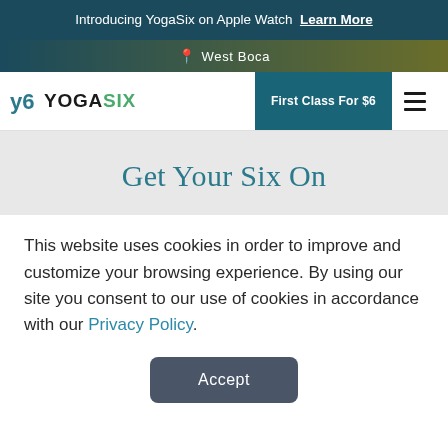Introducing YogaSix on Apple Watch Learn More
West Boca
YogaSix | First Class For $6
Get Your Six On
This website uses cookies in order to improve and customize your browsing experience. By using our site you consent to our use of cookies in accordance with our Privacy Policy.
Accept